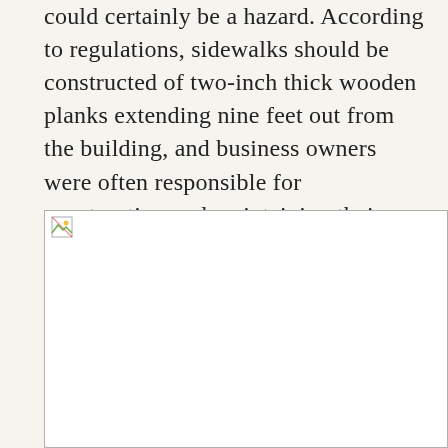could certainly be a hazard. According to regulations, sidewalks should be constructed of two-inch thick wooden planks extending nine feet out from the building, and business owners were often responsible for constructing and maintaining their own walkways. This could be a source of contention between the city council and local entrepreneurs, and Main Street sidewalks at this time could be uneven and rough.
[Figure (photo): A broken/missing image placeholder icon indicating a photograph that could not be loaded, shown within a bordered rectangular frame.]